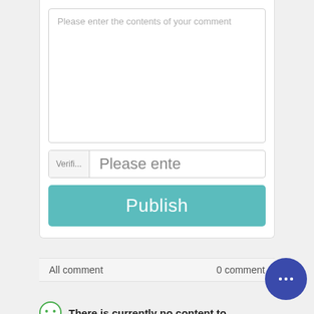Please enter the contents of your comment
Verifi...   Please ente
Publish
All comment   0 comment
There is currently no content to